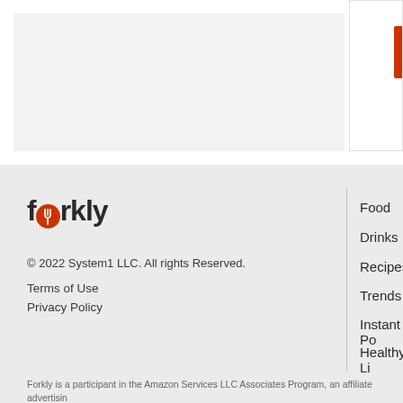[Figure (other): Gray rectangular content area placeholder in upper left, and a white side panel with red bar on the right]
[Figure (logo): Forkly logo with red circle fork icon replacing the 'o']
© 2022 System1 LLC. All rights Reserved.
Terms of Use
Privacy Policy
Food
Drinks
Recipes
Trends
Instant Po...
Healthy Li...
Forkly is a participant in the Amazon Services LLC Associates Program, an affiliate advertisin...